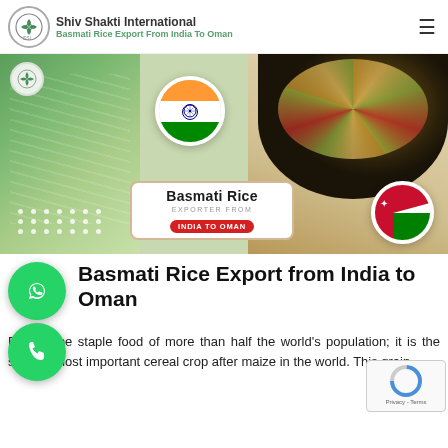Shiv Shakti International — Basmati Rice Export From India To Oman
[Figure (photo): Promotional banner image for Basmati Rice export from India to Oman. Shows basmati rice grains on left, biryani bowl on right, India flag circle at top center, Oman flag circle at bottom right, SSI logo top left, dot pattern bottom left, and central white box reading 'Basmati Rice / EXPORTER FROM / INDIA TO OMAN'.]
Basmati Rice Export from India to Oman
Rice is the staple food of more than half the world's population; it is the second-most important cereal crop after maize in the world. This grain